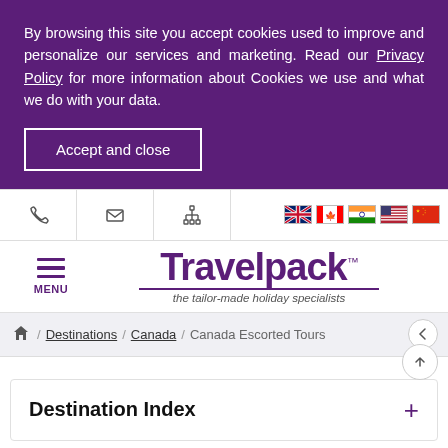By browsing this site you accept cookies used to improve and personalize our services and marketing. Read our Privacy Policy for more information about Cookies we use and what we do with your data.
Accept and close
[Figure (screenshot): Navigation toolbar with phone, email, and sitemap icons on the left; UK, Canada, India, US, and China flag icons on the right]
[Figure (logo): Travelpack logo with tagline 'the tailor-made holiday specialists' and hamburger menu icon with MENU label]
Destinations / Canada / Canada Escorted Tours
Destination Index